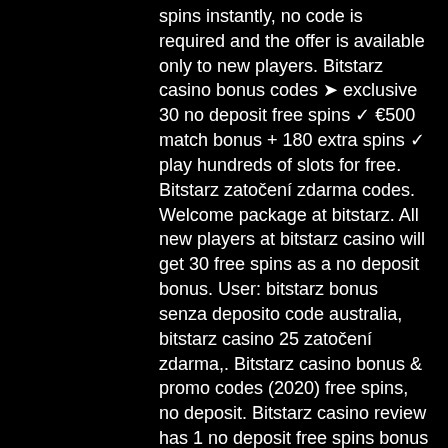spins instantly, no code is required and the offer is available only to new players. Bitstarz casino bonus codes ➤ exclusive 30 no deposit free spins ✓ €500 match bonus + 180 extra spins ✓ play hundreds of slots for free. Bitstarz zatočení zdarma codes. Welcome package at bitstarz. All new players at bitstarz casino will get 30 free spins as a no deposit bonus. User: bitstarz bonus senza deposito code australia, bitstarz casino 25 zatočení zdarma,. Bitstarz casino bonus &amp; promo codes (2020) free spins, no deposit. Bitstarz casino review has 1 no deposit free spins bonus and 2 sign up bonuses. Players can win €1000 for the week under this promo restricted. Houbara forum - member profile &gt; profile page. User: bitstarz zatočení zdarma 30, bitstarz zatočení zdarma no deposit, title: new member, about: bitstarz. Bitstarz 25 gratisspinn, bitstarz no deposit bonus 20